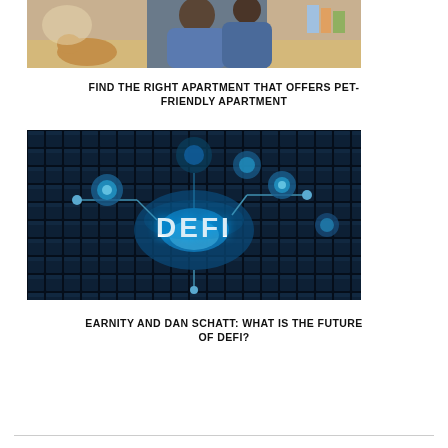[Figure (photo): People sitting together, possibly with a pet, in a home setting]
FIND THE RIGHT APARTMENT THAT OFFERS PET-FRIENDLY APARTMENT
[Figure (photo): Dark technology background with glowing blue DeFi text and circuit-like nodes]
EARNITY AND DAN SCHATT: WHAT IS THE FUTURE OF DEFI?